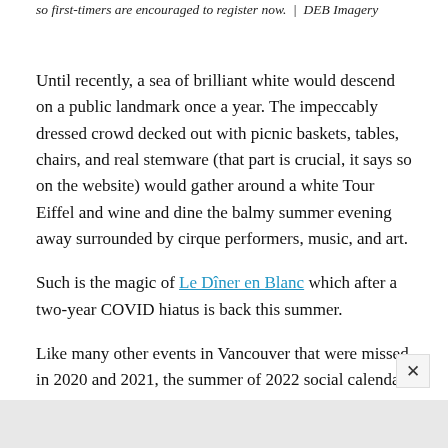so first-timers are encouraged to register now.  |  DEB Imagery
Until recently, a sea of brilliant white would descend on a public landmark once a year. The impeccably dressed crowd decked out with picnic baskets, tables, chairs, and real stemware (that part is crucial, it says so on the website) would gather around a white Tour Eiffel and wine and dine the balmy summer evening away surrounded by cirque performers, music, and art.
Such is the magic of Le Dîner en Blanc which after a two-year COVID hiatus is back this summer.
Like many other events in Vancouver that were missed in 2020 and 2021, the summer of 2022 social calendar is filling rapidly with all of our favourite events making a triumphant